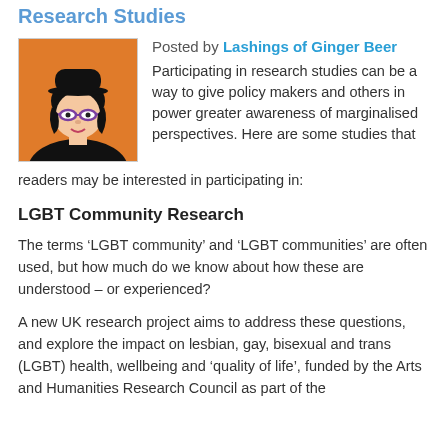Research Studies
Posted by Lashings of Ginger Beer
[Figure (illustration): Orange square avatar with a cartoon illustration of a person wearing a black bowler hat and purple glasses with black hair]
Participating in research studies can be a way to give policy makers and others in power greater awareness of marginalised perspectives. Here are some studies that readers may be interested in participating in:
LGBT Community Research
The terms ‘LGBT community’ and ‘LGBT communities’ are often used, but how much do we know about how these are understood – or experienced?
A new UK research project aims to address these questions, and explore the impact on lesbian, gay, bisexual and trans (LGBT) health, wellbeing and ‘quality of life’, funded by the Arts and Humanities Research Council as part of the